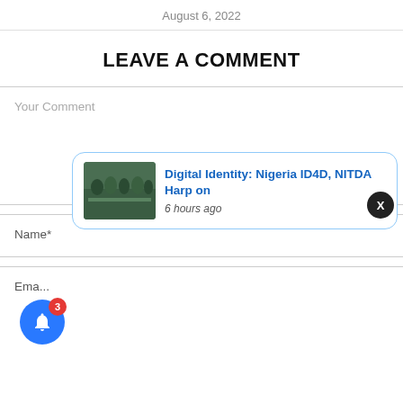August 6, 2022
LEAVE A COMMENT
Your Comment
Name*
Email
[Figure (screenshot): Notification popup with bell icon (blue, badge=3), close button (X), and notification card showing 'Digital Identity: Nigeria ID4D, NITDA Harp on' with image and '6 hours ago']